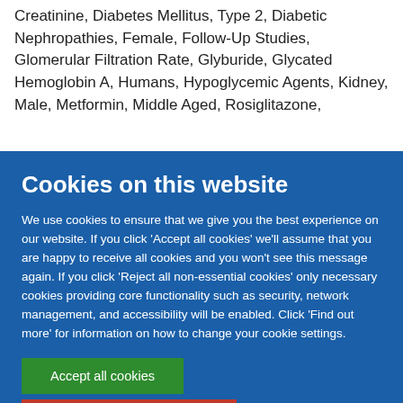Creatinine, Diabetes Mellitus, Type 2, Diabetic Nephropathies, Female, Follow-Up Studies, Glomerular Filtration Rate, Glyburide, Glycated Hemoglobin A, Humans, Hypoglycemic Agents, Kidney, Male, Metformin, Middle Aged, Rosiglitazone,
Cookies on this website
We use cookies to ensure that we give you the best experience on our website. If you click 'Accept all cookies' we'll assume that you are happy to receive all cookies and you won't see this message again. If you click 'Reject all non-essential cookies' only necessary cookies providing core functionality such as security, network management, and accessibility will be enabled. Click 'Find out more' for information on how to change your cookie settings.
Accept all cookies
Reject all non-essential cookies
Find out more